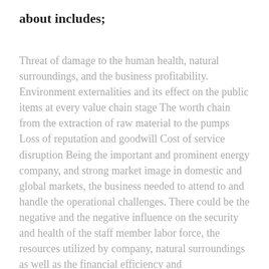about includes;
Threat of damage to the human health, natural surroundings, and the business profitability. Environment externalities and its effect on the public items at every value chain stage
The worth chain from the extraction of raw material to the pumps
Loss of reputation and goodwill
Cost of service disruption
Being the important and prominent energy company, and strong market image in domestic and global markets, the business needed to attend to and handle the operational challenges. There could be the negative and the negative influence on the security and health of the staff member labor force, the resources utilized by company, natural surroundings as well as the financial efficiency and